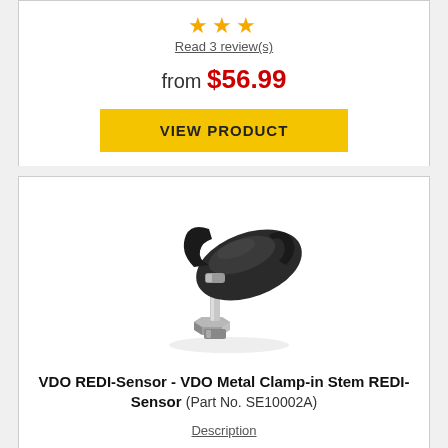★★★ Read 3 review(s)
from $56.99
VIEW PRODUCT
[Figure (photo): VDO REDI-Sensor metal clamp-in stem TPMS sensor with silver metal stem and black body]
VDO REDI-Sensor - VDO Metal Clamp-in Stem REDI-Sensor (Part No. SE10002A)
Description